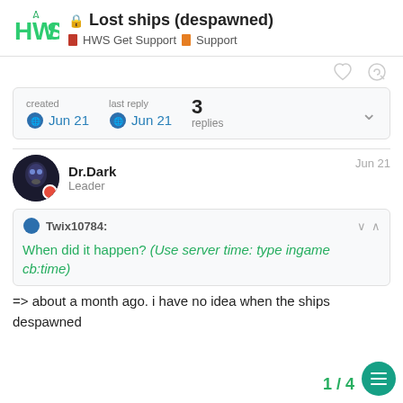Lost ships (despawned) | HWS Get Support > Support
created Jun 21  last reply Jun 21  3 replies
Dr.Dark  Leader  Jun 21
Twix10784: When did it happen? (Use server time: type ingame cb:time)
=> about a month ago. i have no idea when the ships despawned
1 / 4